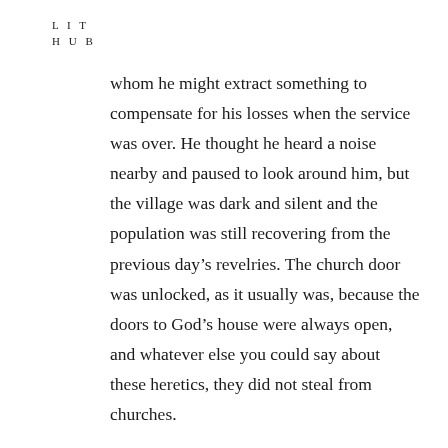L I T
H U B
whom he might extract something to compensate for his losses when the service was over. He thought he heard a noise nearby and paused to look around him, but the village was dark and silent and the population was still recovering from the previous day’s revelries. The church door was unlocked, as it usually was, because the doors to God’s house were always open, and whatever else you could say about these heretics, they did not steal from churches.